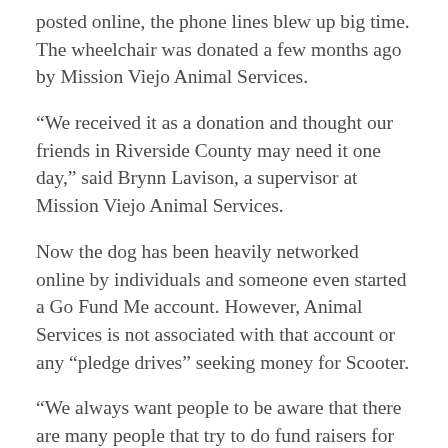posted online, the phone lines blew up big time. The wheelchair was donated a few months ago by Mission Viejo Animal Services.
“We received it as a donation and thought our friends in Riverside County may need it one day,” said Brynn Lavison, a supervisor at Mission Viejo Animal Services.
Now the dog has been heavily networked online by individuals and someone even started a Go Fund Me account. However, Animal Services is not associated with that account or any “pledge drives” seeking money for Scooter.
“We always want people to be aware that there are many people that try to do fund raisers for dogs in our care,” said Jackie Schart, an Animal Services chief. “Be careful where you are donating